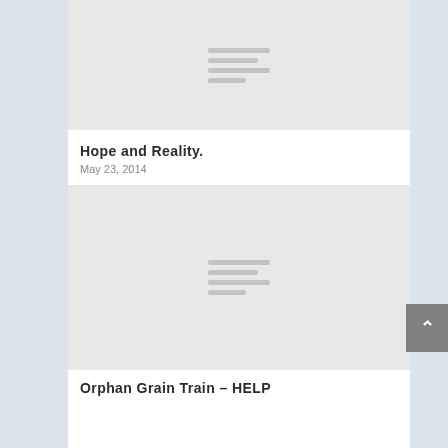[Figure (illustration): Gray placeholder image with horizontal lines in center, top of page]
Hope and Reality.
May 23, 2014
[Figure (illustration): Gray placeholder image with horizontal lines in center, bottom of page]
Orphan Grain Train – HELP